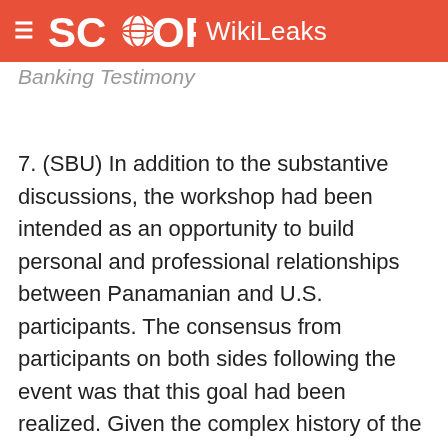SCOOP WikiLeaks
Banking Testimony
7. (SBU) In addition to the substantive discussions, the workshop had been intended as an opportunity to build personal and professional relationships between Panamanian and U.S. participants. The consensus from participants on both sides following the event was that this goal had been realized. Given the complex history of the PRD and its relationship with the United States, it was particularly